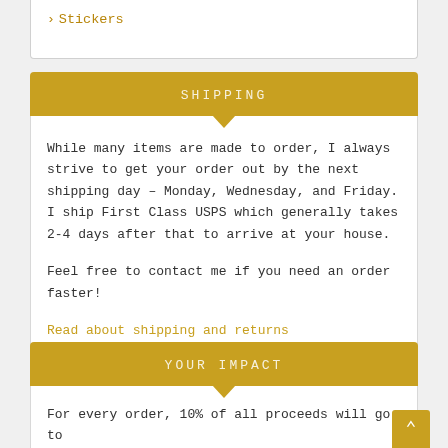> Stickers
SHIPPING
While many items are made to order, I always strive to get your order out by the next shipping day – Monday, Wednesday, and Friday. I ship First Class USPS which generally takes 2-4 days after that to arrive at your house.
Feel free to contact me if you need an order faster!
Read about shipping and returns
YOUR IMPACT
For every order, 10% of all proceeds will go to